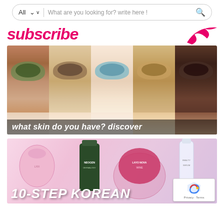[Figure (screenshot): Search bar with 'All' dropdown and placeholder text 'What are you looking for? write here !' with search icon]
subscribe
[Figure (photo): Five women's faces shown side by side in strips, showing different skin tones and eye colors, with caption 'what skin do you have? discover']
what skin do you have? discover
[Figure (photo): Korean skincare products on pink background including NEOGEN and wine-labeled products, with text '10-STEP KOREAN' visible at bottom]